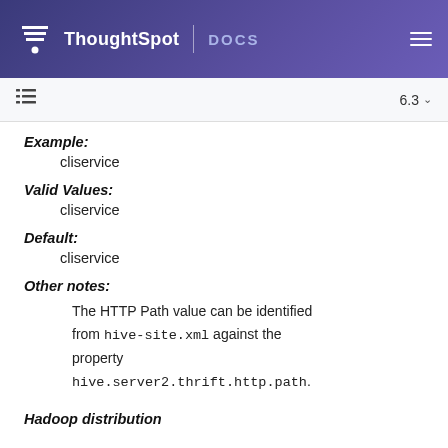ThoughtSpot DOCS
Example:
cliservice
Valid Values:
cliservice
Default:
cliservice
Other notes:
The HTTP Path value can be identified from hive-site.xml against the property hive.server2.thrift.http.path.
Hadoop distribution